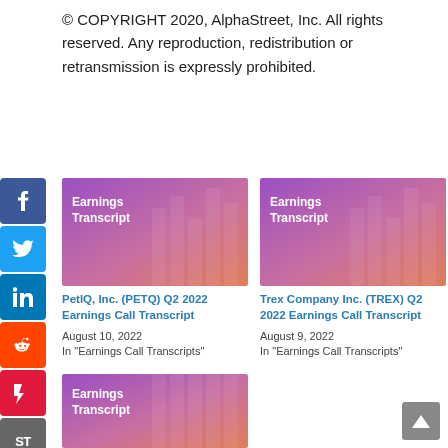© COPYRIGHT 2020, AlphaStreet, Inc. All rights reserved. Any reproduction, redistribution or retransmission is expressly prohibited.
[Figure (other): Earnings Transcript card image with purple-to-orange gradient background]
PetIQ, Inc. (PETQ) Q2 2022 Earnings Call Transcript
August 10, 2022
In "Earnings Call Transcripts"
[Figure (other): Earnings Transcript card image with purple-to-orange gradient background]
Trex Company Inc. (TREX) Q2 2022 Earnings Call Transcript
August 9, 2022
In "Earnings Call Transcripts"
[Figure (other): Earnings Transcript card image with purple-to-orange gradient background (partial, bottom of page)]